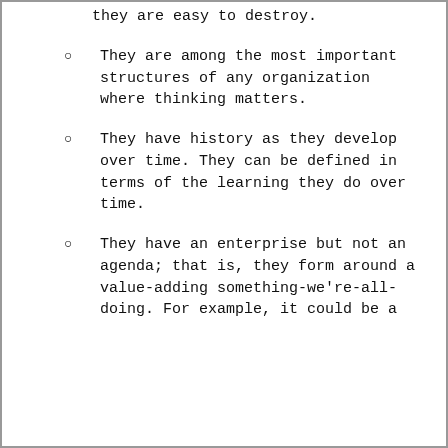they are easy to destroy.
They are among the most important structures of any organization where thinking matters.
They have history as they develop over time. They can be defined in terms of the learning they do over time.
They have an enterprise but not an agenda; that is, they form around a value-adding something-we're-all-doing. For example, it could be a